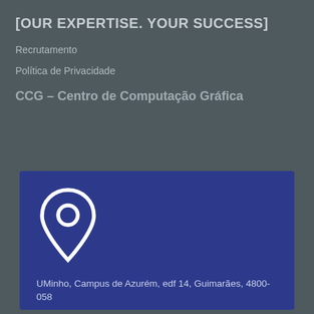[OUR EXPERTISE. YOUR SUCCESS]
Recrutamento
Política de Privacidade
CCG – Centro de Computação Gráfica
[Figure (illustration): Location pin / map marker icon in white outline on blue background]
UMinho, Campus de Azurém, edf 14, Guimarães, 4800-058
(00351) 253 510 580
E-Mail: info@ccg.pt